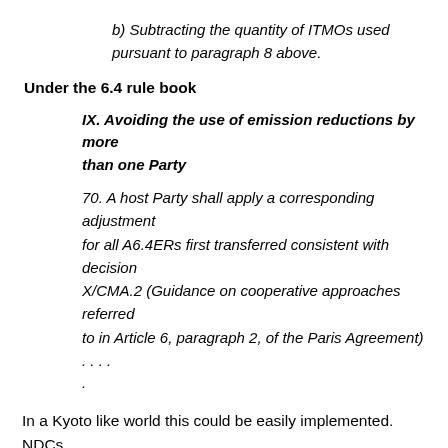b) Subtracting the quantity of ITMOs used pursuant to paragraph 8 above.
Under the 6.4 rule book
IX. Avoiding the use of emission reductions by more than one Party
70. A host Party shall apply a corresponding adjustment for all A6.4ERs first transferred consistent with decision X/CMA.2 (Guidance on cooperative approaches referred to in Article 6, paragraph 2, of the Paris Agreement) . . . . .
In a Kyoto like world this could be easily implemented. NDCs would first be converted to emissions and AAUs assigned, which would give every country a clear carbon budget. As units